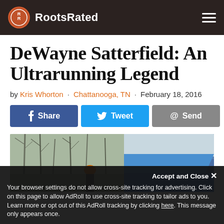RootsRated
DeWayne Satterfield: An Ultrarunning Legend
by Kris Whorton · Chattanooga, TN · February 18, 2016
[Figure (screenshot): Social sharing buttons: Share (Facebook, blue), Tweet (Twitter, light blue), Send (gray)]
[Figure (photo): Outdoor photo showing a person in an orange hat at what appears to be a trail running event, with bare winter trees in background and a blue tent canopy visible on the right.]
Accept and Close ×
Your browser settings do not allow cross-site tracking for advertising. Click on this page to allow AdRoll to use cross-site tracking to tailor ads to you. Learn more or opt out of this AdRoll tracking by clicking here. This message only appears once.